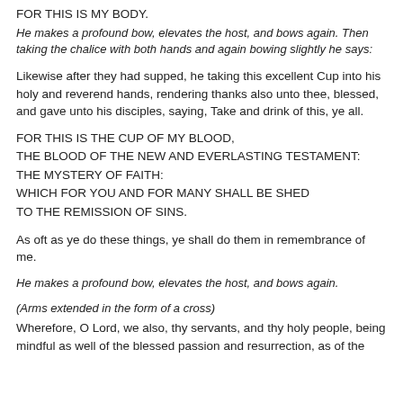FOR THIS IS MY BODY.
He makes a profound bow, elevates the host, and bows again. Then taking the chalice with both hands and again bowing slightly he says:
Likewise after they had supped, he taking this excellent Cup into his holy and reverend hands, rendering thanks also unto thee, blessed, and gave unto his disciples, saying, Take and drink of this, ye all.
FOR THIS IS THE CUP OF MY BLOOD,
THE BLOOD OF THE NEW AND EVERLASTING TESTAMENT:
THE MYSTERY OF FAITH:
WHICH FOR YOU AND FOR MANY SHALL BE SHED
TO THE REMISSION OF SINS.
As oft as ye do these things, ye shall do them in remembrance of me.
He makes a profound bow, elevates the host, and bows again.
(Arms extended in the form of a cross)
Wherefore, O Lord, we also, thy servants, and thy holy people, being mindful as well of the blessed passion and resurrection, as of the